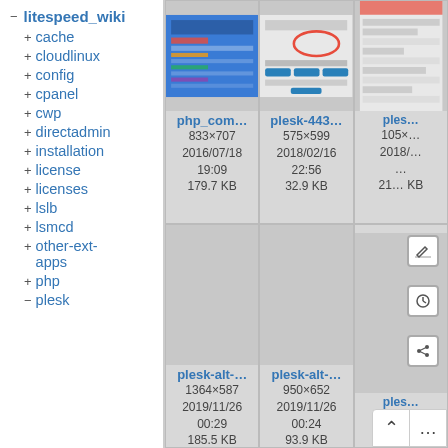− litespeed_wiki
+ cache
+ cloudlinux
+ config
+ cpanel
+ cwp
+ directadmin
+ installation
+ license
+ licenses
+ lslb
+ lsmcd
+ other-ext-apps
+ php
− plesk
[Figure (screenshot): Thumbnail of php_com... file, 833×707, 2016/07/18 19:09, 179.7 KB]
[Figure (screenshot): Thumbnail of plesk-443... file, 575×599, 2018/02/16 22:56, 32.9 KB]
[Figure (screenshot): Partial thumbnail of ples... file, 105×..., 2018/... ..., 21... KB]
[Figure (screenshot): Empty thumbnail of plesk-alt-... file, 1364×587, 2019/11/26 00:29, 185.5 KB]
[Figure (screenshot): Empty thumbnail of plesk-alt-... file, 950×652, 2019/11/26 00:24, 93.9 KB]
[Figure (screenshot): Partial ples... with action icons (edit, history, link) and nav buttons]